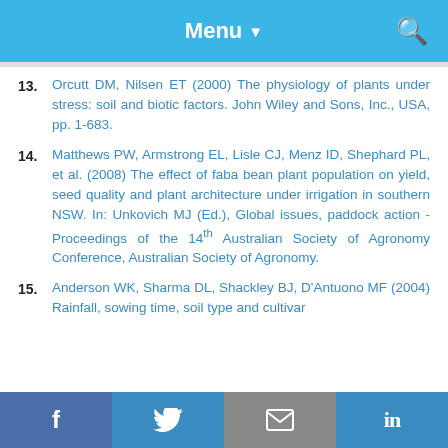Menu
13. Orcutt DM, Nilsen ET (2000) The physiology of plants under stress: soil and biotic factors. John Wiley and Sons, Inc., USA, pp. 1-683.
14. Matthews PW, Armstrong EL, Lisle CJ, Menz ID, Shephard PL, et al. (2008) The effect of faba bean plant population on yield, seed quality and plant architecture under irrigation in southern NSW. In: Unkovich MJ (Ed.), Global issues, paddock action -Proceedings of the 14th Australian Society of Agronomy Conference, Australian Society of Agronomy.
15. Anderson WK, Sharma DL, Shackley BJ, D'Antuono MF (2004) Rainfall, sowing time, soil type and cultivar
f   Twitter   Email   in